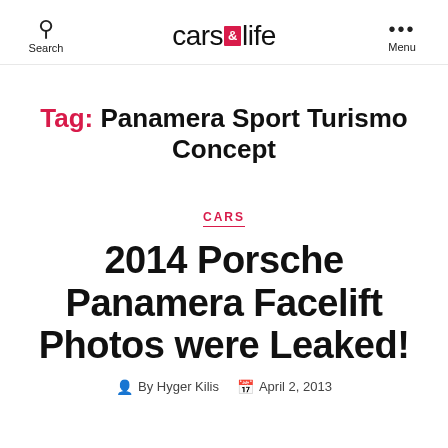Search | cars & life | Menu
Tag: Panamera Sport Turismo Concept
CARS
2014 Porsche Panamera Facelift Photos were Leaked!
By Hyger Kilis   April 2, 2013